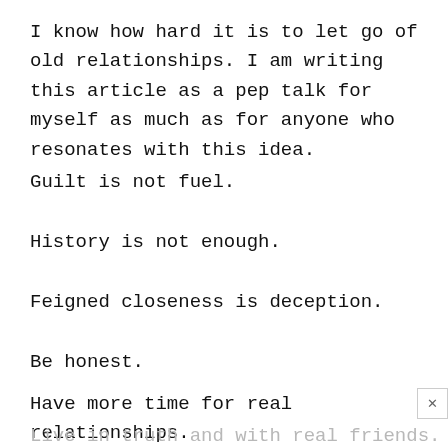I know how hard it is to let go of old relationships. I am writing this article as a pep talk for myself as much as for anyone who resonates with this idea.
Guilt is not fuel.
History is not enough.
Feigned closeness is deception.
Be honest.
Have more time for real relationships.
Live in truth and with real friends.